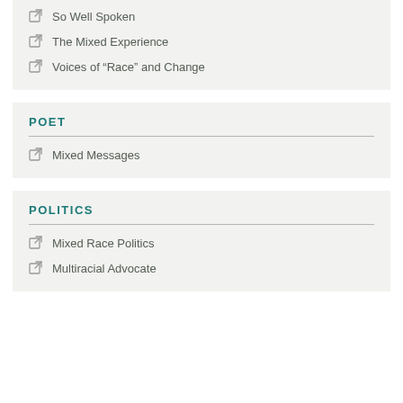So Well Spoken
The Mixed Experience
Voices of “Race” and Change
POET
Mixed Messages
POLITICS
Mixed Race Politics
Multiracial Advocate